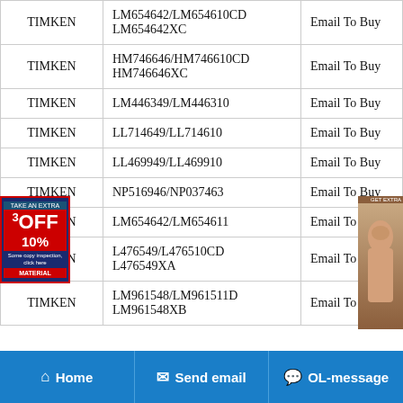| Brand | Part Number | Action |
| --- | --- | --- |
| TIMKEN | LM654642/LM654610CD LM654642XC | Email To Buy |
| TIMKEN | HM746646/HM746610CD HM746646XC | Email To Buy |
| TIMKEN | LM446349/LM446310 | Email To Buy |
| TIMKEN | LL714649/LL714610 | Email To Buy |
| TIMKEN | LL469949/LL469910 | Email To Buy |
| TIMKEN | NP516946/NP037463 | Email To Buy |
| TIMKEN | LM654642/LM654611 | Email To Buy |
| TIMKEN | L476549/L476510CD L476549XA | Email To Buy |
| TIMKEN | LM961548/LM961511D LM961548XB | Email To Buy |
Home  Send email  OL-message